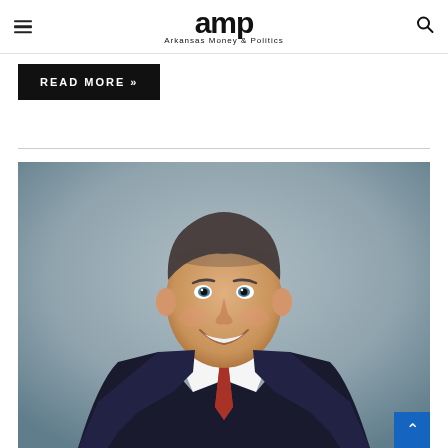amp — Arkansas Money & Politics
READ MORE »
[Figure (photo): Professional headshot of a middle-aged man in a dark suit and red tie, smiling, gray background]